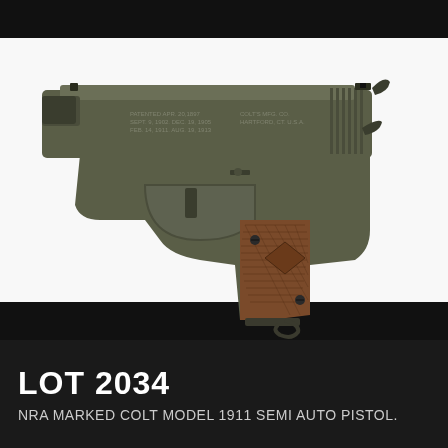[Figure (photo): A Colt Model 1911 semi-automatic pistol shown in profile view against a white background. The pistol has a dark olive/grey finish on the slide and frame, with brown wooden checkered grip panels. NRA markings visible on the slide.]
LOT 2034
NRA MARKED COLT MODEL 1911 SEMI AUTO PISTOL.